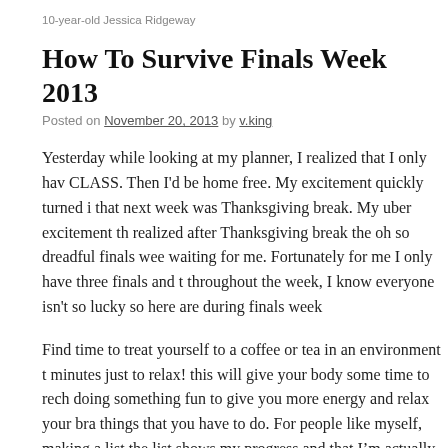10-year-old Jessica Ridgeway
How To Survive Finals Week 2013
Posted on November 20, 2013 by v.king
Yesterday while looking at my planner, I realized that I only hav CLASS. Then I'd be home free. My excitement quickly turned i that next week was Thanksgiving break. My uber excitement th realized after Thanksgiving break the oh so dreadful finals wee waiting for me. Fortunately for me I only have three finals and t throughout the week, I know everyone isn't so lucky so here are during finals week
Find time to treat yourself to a coffee or tea in an environment t minutes just to relax! this will give your body some time to rech doing something fun to give you more energy and relax your bra things that you have to do. For people like myself, making a list the list shows my progress and that I'm actually getting things d get some sleep!!! It'll be over soon. Good luck to everyone on t